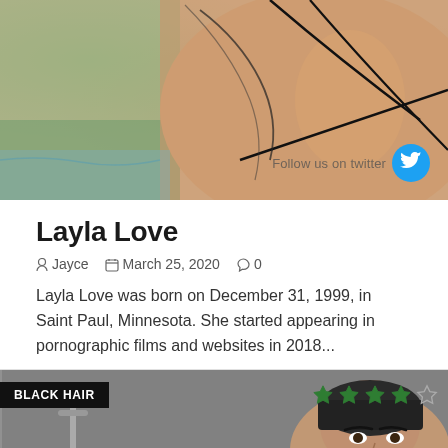[Figure (photo): Cropped photo of a person from behind showing tattoos, with a pool/outdoor background and a 'Follow us on Twitter' badge with Twitter bird icon]
Layla Love
Jayce   March 25, 2020   0
Layla Love was born on December 31, 1999, in Saint Paul, Minnesota. She started appearing in pornographic films and websites in 2018...
[Figure (photo): Photo of a dark-haired woman with a 'BLACK HAIR' tag overlay and 4 out of 5 star rating overlay]